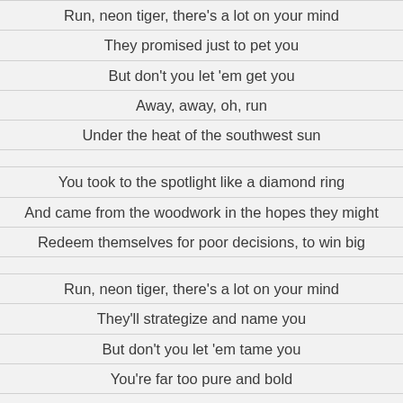Run, neon tiger, there's a lot on your mind
They promised just to pet you
But don't you let 'em get you
Away, away, oh, run
Under the heat of the southwest sun
You took to the spotlight like a diamond ring
And came from the woodwork in the hopes they might
Redeem themselves for poor decisions, to win big
Run, neon tiger, there's a lot on your mind
They'll strategize and name you
But don't you let 'em tame you
You're far too pure and bold